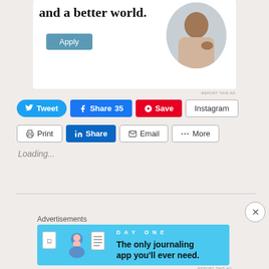[Figure (screenshot): Advertisement banner with text 'and a better world.', an Apply button, and a circular photo of a man thinking]
REPORT THIS AD
[Figure (screenshot): Social sharing buttons row 1: Tweet, Share 35 (Facebook), Save (Pinterest), Instagram]
[Figure (screenshot): Social sharing buttons row 2: Print, Share (LinkedIn), Email, More]
Loading...
Advertisements
[Figure (screenshot): Advertisement for DAY ONE journaling app with text 'The only journaling app you'll ever need.']
REPORT THIS AD